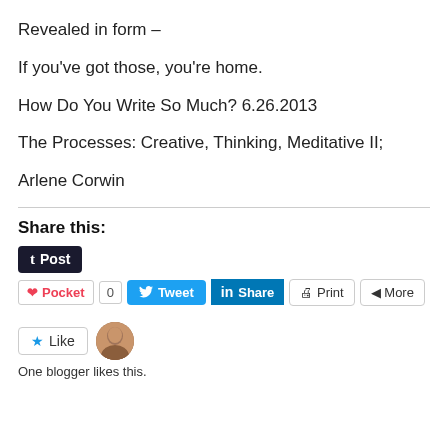Revealed in form –
If you've got those, you're home.
How Do You Write So Much? 6.26.2013
The Processes: Creative, Thinking, Meditative II;
Arlene Corwin
Share this:
[Figure (other): Social share buttons: Tumblr Post, Pocket (0), Tweet, LinkedIn Share, Print, More]
[Figure (other): Like button with star icon, avatar photo of a person, and text 'One blogger likes this.']